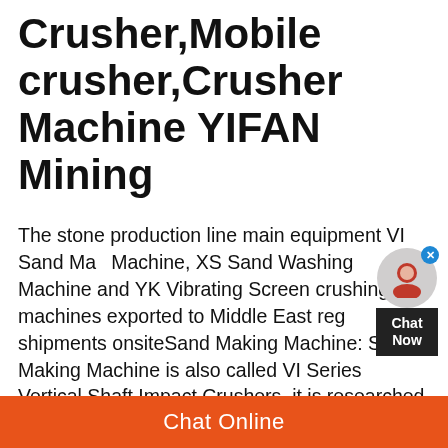Crusher,Mobile crusher,Crusher Machine YIFAN Mining
The stone production line main equipment VI Sand Making Machine, XS Sand Washing Machine and YK Vibrating Screen crushing machines exported to Middle East reg shipments onsiteSand Making Machine: Sand Making Machine is also called VI Series Vertical Shaft Impact Crushers, it is researched and produced by our corporation through absorbing the advanced technology from Germany, and hasThe system will form part of phase one of Assmang's new ironore expansion project and comprises a primary gyratory crusher (60110Mk2), one secondary cone crusher (MP1000) and three tertiaryNew type of crusher for ?ironore mine Mining Weekly· asphalt
[Figure (other): Chat Now widget overlay - circular avatar icon with close X button, and dark background Chat Now label]
Chat Online